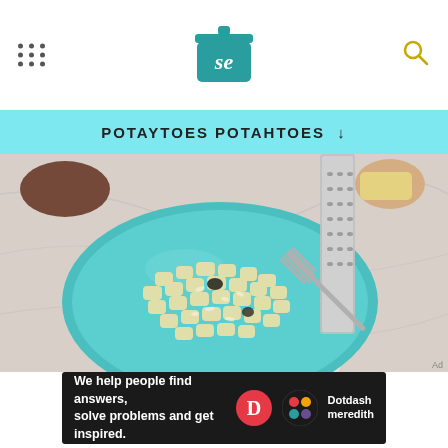Serious Eats - SE logo with navigation menu and search icon
POTAYTOES POTAHTOES ↓
[Figure (photo): A teal/turquoise ceramic plate filled with gnocchi (potato dumplings) topped with grated cheese and black pepper, being grated with a box grater. A fork rests to the right on a white cloth napkin on a marble surface.]
Ad
[Figure (infographic): Dotdash Meredith advertisement banner: black background with text 'We help people find answers, solve problems and get inspired.' alongside the Dotdash 'D' logo and Dotdash Meredith colorful logo.]